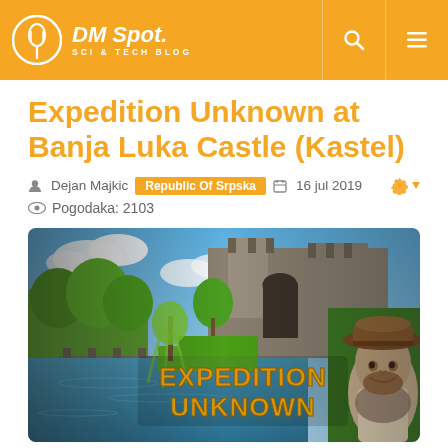DM Spot. SCI & TECH BLOG
Expedition Unknown at Banja Luka Castle (Kastel)
Dejan Majkic  Republic Of Srpska  16 jul 2019  Pogodaka: 2103
[Figure (photo): Expedition Unknown promotional image showing Banja Luka Castle with river in foreground and show host in cowboy hat, with 'EXPEDITION UNKNOWN' golden text overlay]